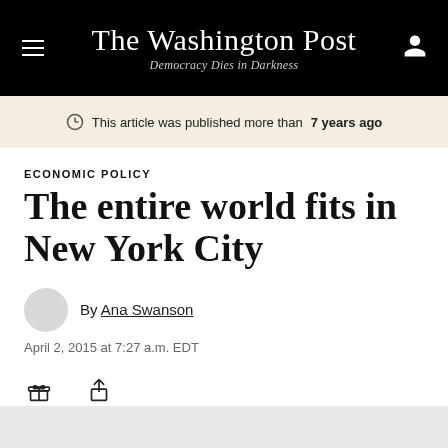The Washington Post — Democracy Dies in Darkness
This article was published more than 7 years ago
ECONOMIC POLICY
The entire world fits in New York City
By Ana Swanson
April 2, 2015 at 7:27 a.m. EDT
Gift  Share